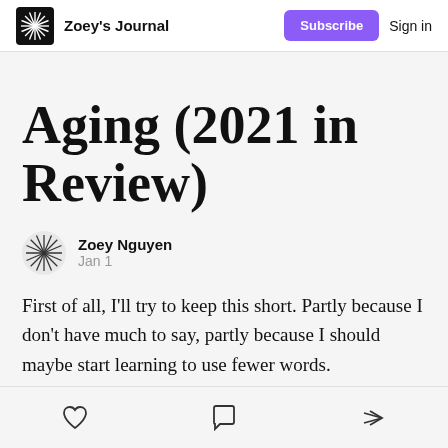Zoey's Journal | Subscribe | Sign in
Aging (2021 in Review)
Zoey Nguyen
Jan 1
First of all, I'll try to keep this short. Partly because I don't have much to say, partly because I should maybe start learning to use fewer words.